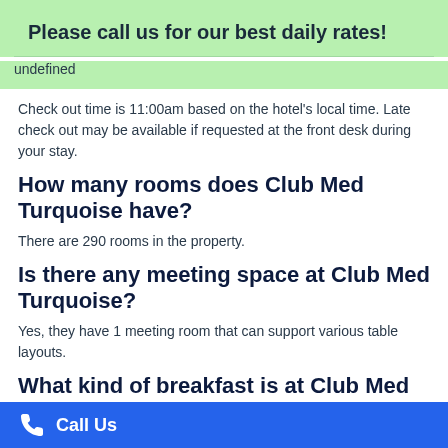Please call us for our best daily rates!
undefined
Check out time is 11:00am based on the hotel's local time. Late check out may be available if requested at the front desk during your stay.
How many rooms does Club Med Turquoise have?
There are 290 rooms in the property.
Is there any meeting space at Club Med Turquoise?
Yes, they have 1 meeting room that can support various table layouts.
What kind of breakfast is at Club Med Turquoise?
This resort is all-inclusive so all food beverage including alcohol is in your per person price.
Call Us